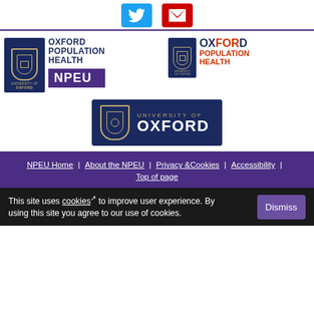[Figure (logo): Twitter and email social media icon buttons at top]
[Figure (logo): Oxford Population Health NPEU logo (left) and Oxford Population Health logo (right)]
[Figure (logo): University of Oxford logo on dark navy background]
NPEU Home | About the NPEU | Privacy & Cookies | Accessibility | Top of page
This site uses cookies to improve user experience. By using this site you agree to our use of cookies.